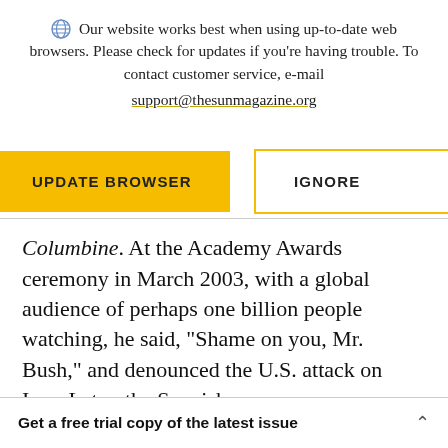Our website works best when using up-to-date web browsers. Please check for updates if you're having trouble. To contact customer service, e-mail support@thesunmagazine.org
[Figure (other): Two buttons: a yellow filled button labeled UPDATE BROWSER and a yellow-outlined white button labeled IGNORE]
Columbine. At the Academy Awards ceremony in March 2003, with a global audience of perhaps one billion people watching, he said, “Shame on you, Mr. Bush,” and denounced the U.S. attack on Iraq. Later, the Spanish
Get a free trial copy of the latest issue